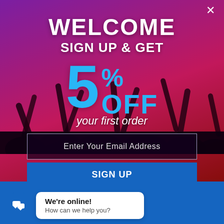[Figure (screenshot): Website popup screenshot with dark purple/magenta concert crowd background, showing a welcome sign-up offer for 5% off first order, email input field, sign-up button, and a live chat widget at the bottom.]
WELCOME
SIGN UP & GET
5% OFF your first order
Enter Your Email Address
We're online!
How can we help you?